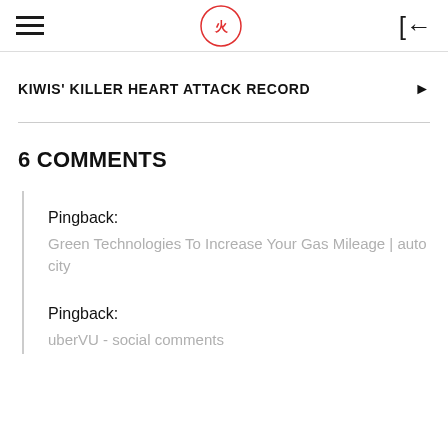[hamburger menu] [logo] [login icon]
KIWIS' KILLER HEART ATTACK RECORD
6 COMMENTS
Pingback: Green Technologies To Increase Your Gas Mileage | auto city
Pingback: uberVU - social comments